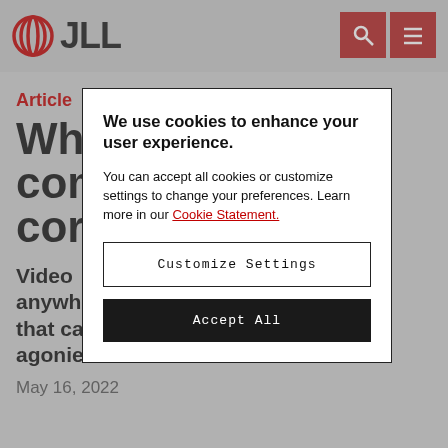JLL
Article
Why com cor
Video anywh ons that can remove some of the agonies?
May 16, 2022
We use cookies to enhance your user experience.
You can accept all cookies or customize settings to change your preferences. Learn more in our Cookie Statement.
Customize Settings
Accept All